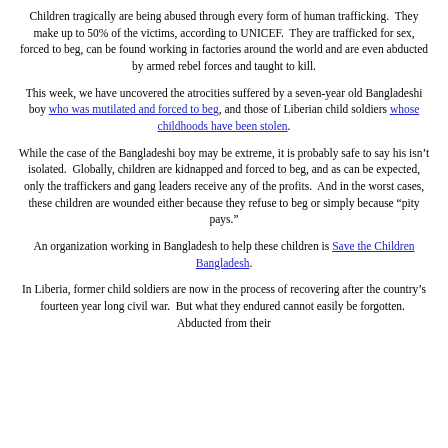Children tragically are being abused through every form of human trafficking. They make up to 50% of the victims, according to UNICEF. They are trafficked for sex, forced to beg, can be found working in factories around the world and are even abducted by armed rebel forces and taught to kill.
This week, we have uncovered the atrocities suffered by a seven-year old Bangladeshi boy who was mutilated and forced to beg, and those of Liberian child soldiers whose childhoods have been stolen.
While the case of the Bangladeshi boy may be extreme, it is probably safe to say his isn’t isolated. Globally, children are kidnapped and forced to beg, and as can be expected, only the traffickers and gang leaders receive any of the profits. And in the worst cases, these children are wounded either because they refuse to beg or simply because “pity pays.”
An organization working in Bangladesh to help these children is Save the Children Bangladesh.
In Liberia, former child soldiers are now in the process of recovering after the country’s fourteen year long civil war. But what they endured cannot easily be forgotten. Abducted from their homes, they left for war, they came home as survivors.